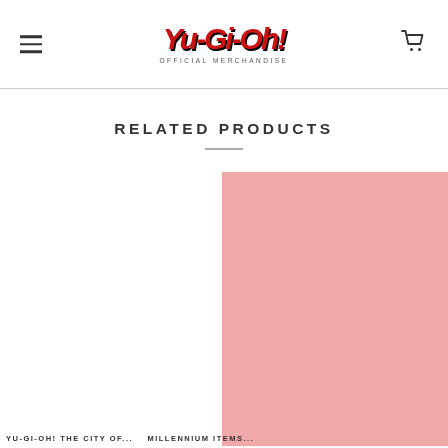[Figure (logo): Yu-Gi-Oh! Official Merchandise logo with red stylized text and subtitle]
RELATED PRODUCTS
[Figure (photo): Pink/salmon colored product image placeholder rectangle]
YU-GI-OH! THE CITY OF... / MILLENNIUM ITEMS...